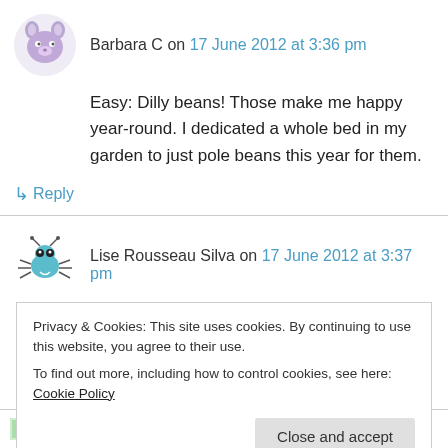Barbara C on 17 June 2012 at 3:36 pm
Easy: Dilly beans! Those make me happy year-round. I dedicated a whole bed in my garden to just pole beans this year for them.
↳ Reply
Lise Rousseau Silva on 17 June 2012 at 3:37 pm
Hmmm, that would have to be our roasted
Privacy & Cookies: This site uses cookies. By continuing to use this website, you agree to their use.
To find out more, including how to control cookies, see here: Cookie Policy
Close and accept
Ingred Chamberlin (@ChrononautClub) on 17 June